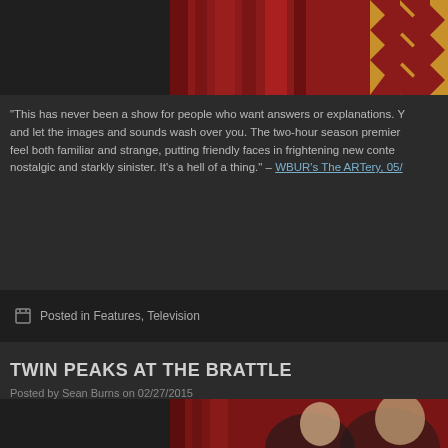[Figure (photo): Top portion of a Twin Peaks themed image showing red curtains and a zigzag floor pattern]
“This has never been a show for people who want answers or explanations. Y... and let the images and sounds wash over you. The two-hour season premier... feel both familiar and strange, putting friendly faces in frightening new conte... nostalgic and starkly sinister. It’s a hell of a thing.” – WBUR’s The ARTery, 05/...
Posted in Features, Television
TWIN PEAKS AT THE BRATTLE
Posted by Sean Burns on 02/27/2015
[Figure (photo): Bottom portion showing two people in front of red curtains at the Brattle Theatre]